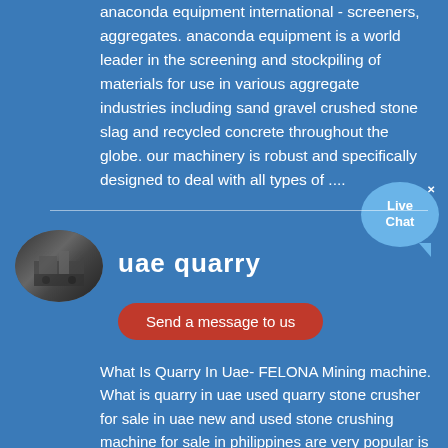anaconda equipment international - screeners, aggregates. anaconda equipment is a world leader in the screening and stockpiling of materials for use in various aggregate industries including sand gravel crushed stone slag and recycled concrete throughout the globe. our machinery is robust and specifically designed to deal with all types of ....
[Figure (photo): Thumbnail oval photo of quarry/mining equipment]
uae quarry
Send a message to us
What Is Quarry In Uae- FELONA Mining machine. What is quarry in uae used quarry stone crusher for sale in uae new and used stone crushing machine for sale in philippines are very popular is a professional and famous ore crusher machine supplier from china and